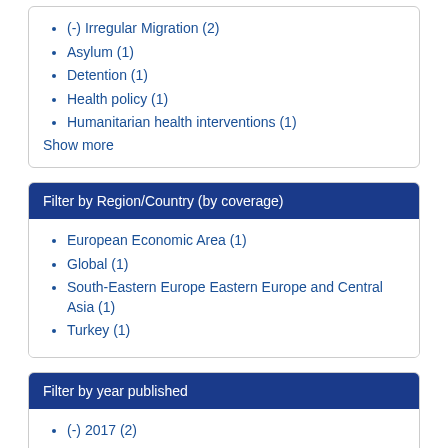(-) Irregular Migration (2)
Asylum (1)
Detention (1)
Health policy (1)
Humanitarian health interventions (1)
Show more
Filter by Region/Country (by coverage)
European Economic Area (1)
Global (1)
South-Eastern Europe Eastern Europe and Central Asia (1)
Turkey (1)
Filter by year published
(-) 2017 (2)